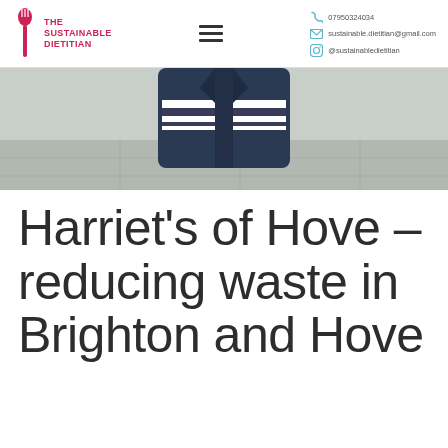THE SUSTAINABLE DIETITIAN | 07950324034 | sustainable.dietitian@gmail.com | @sustainabledietitian
[Figure (photo): Cropped photo of a person wearing a navy blue jacket and striped sweater, standing on a paved outdoor surface]
Harriet's of Hove – reducing waste in Brighton and Hove